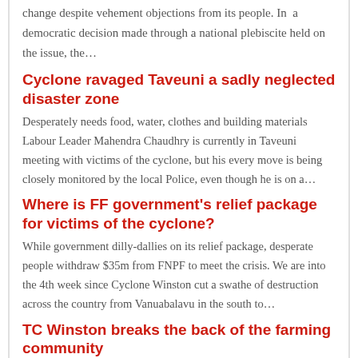change despite vehement objections from its people. In a democratic decision made through a national plebiscite held on the issue, the…
Cyclone ravaged Taveuni a sadly neglected disaster zone
Desperately needs food, water, clothes and building materials Labour Leader Mahendra Chaudhry is currently in Taveuni meeting with victims of the cyclone, but his every move is being closely monitored by the local Police, even though he is on a…
Where is FF government's relief package for victims of the cyclone?
While government dilly-dallies on its relief package, desperate people withdraw $35m from FNPF to meet the crisis. We are into the 4th week since Cyclone Winston cut a swathe of destruction across the country from Vanuabalavu in the south to…
TC Winston breaks the back of the farming community